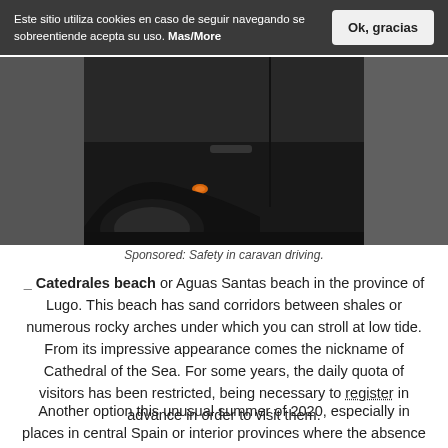Este sitio utiliza cookies en caso de seguir navegando se sobreentiende acepta su uso. Mas/More
[Figure (photo): Close-up photo of a dark car side panel with a small orange turn signal light visible, and a black tire/wheel arch. Dark and moody automotive photography.]
Sponsored: Safety in caravan driving.
_ Catedrales beach or Aguas Santas beach in the province of Lugo. This beach has sand corridors between shales or numerous rocky arches under which you can stroll at low tide. From its impressive appearance comes the nickname of Cathedral of the Sea. For some years, the daily quota of visitors has been restricted, being necessary to register in advance in order to visit them.
Another option this unusual summer of 2020, especially in places in central Spain or interior provinces where the absence of sea and heat induce new ideas, is the rental of private pools, to enjoy this